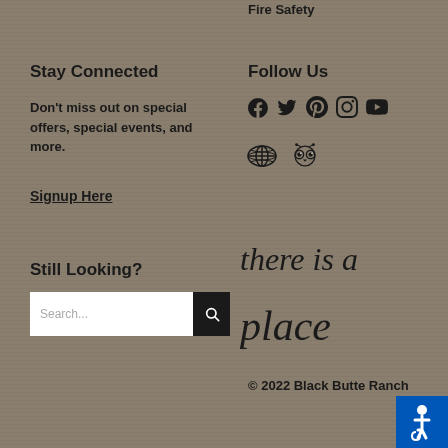Fire Safety
Stay Connected
Follow Us
Don't miss out on special offers, special events, and more.
[Figure (infographic): Social media icons row 1: Facebook, Twitter, Pinterest, Instagram, YouTube]
[Figure (infographic): Social media icons row 2: Globe/website icon, TripAdvisor owl icon]
Signup Here
Still Looking?
[Figure (infographic): Search bar with text input placeholder 'Search...' and black search button]
[Figure (illustration): Handwritten script text reading 'there is a place']
© 2022 Black Butte Ranch
[Figure (logo): Blue ADA accessibility icon badge in bottom right corner]